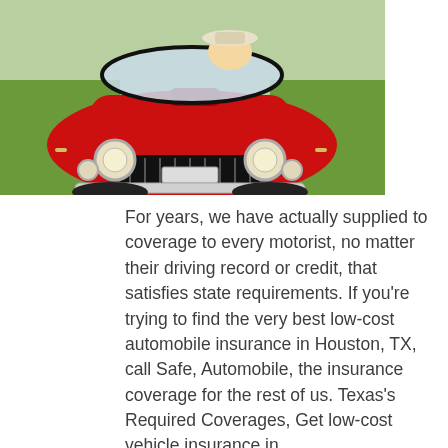[Figure (photo): Front view of a classic red convertible sports car driving on a road with green grass on the side, driver wearing a white hat visible]
For years, we have actually supplied to coverage to every motorist, no matter their driving record or credit, that satisfies state requirements. If you're trying to find the very best low-cost automobile insurance in Houston, TX, call Safe, Automobile, the insurance coverage for the rest of us. Texas's Required Coverages, Get low-cost vehicle insurance in